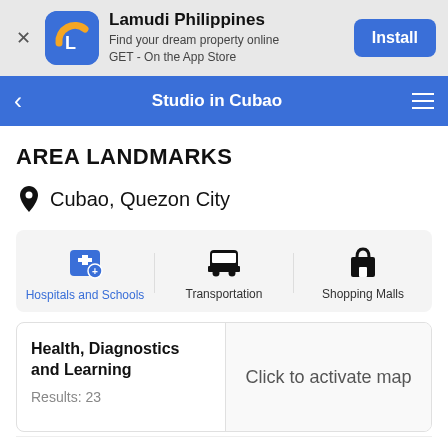[Figure (screenshot): Lamudi Philippines app install banner with app icon, name, tagline, and Install button]
Studio in Cubao
AREA LANDMARKS
Cubao, Quezon City
[Figure (infographic): Three category tabs: Hospitals and Schools (active/blue), Transportation, Shopping Malls with icons]
Health, Diagnostics and Learning
Results: 23
Click to activate map